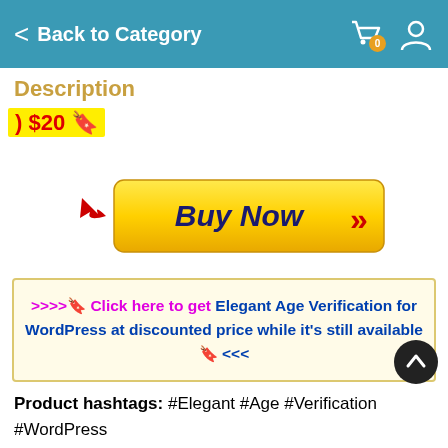Back to Category
Description
) $20 🔖
[Figure (other): Yellow Buy Now button with red chevron arrows and red arrow cursor pointing to it]
>>>>🔖 Click here to get Elegant Age Verification for WordPress at discounted price while it's still available 🔖 <<<
Product hashtags: #Elegant #Age #Verification #WordPress